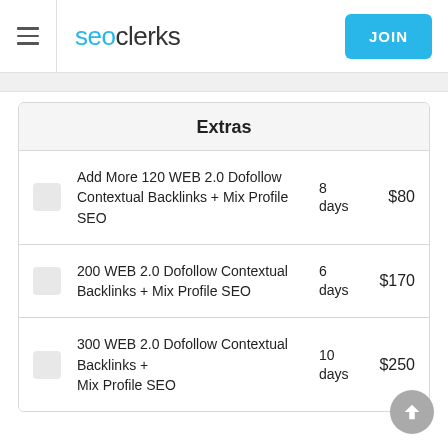seoclerks — JOIN
Extras
Add More 120 WEB 2.0 Dofollow Contextual Backlinks + Mix Profile SEO — 8 days — $80
200 WEB 2.0 Dofollow Contextual Backlinks + Mix Profile SEO — 6 days — $170
300 WEB 2.0 Dofollow Contextual Backlinks + Mix Profile SEO — 10 days — $250